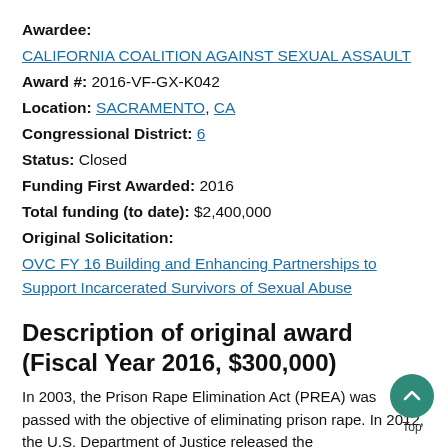Awardee:
CALIFORNIA COALITION AGAINST SEXUAL ASSAULT
Award #: 2016-VF-GX-K042
Location: SACRAMENTO, CA
Congressional District: 6
Status: Closed
Funding First Awarded: 2016
Total funding (to date): $2,400,000
Original Solicitation:
OVC FY 16 Building and Enhancing Partnerships to Support Incarcerated Survivors of Sexual Abuse
Description of original award (Fiscal Year 2016, $300,000)
In 2003, the Prison Rape Elimination Act (PREA) was passed with the objective of eliminating prison rape. In 2012, the U.S. Department of Justice released the